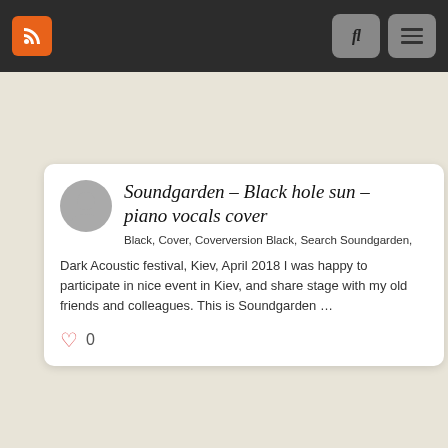RSS | fl | menu
Soundgarden – Black hole sun – piano vocals cover
Black, Cover, Coverversion Black, Search Soundgarden,
Dark Acoustic festival, Kiev, April 2018 I was happy to participate in nice event in Kiev, and share stage with my old friends and colleagues. This is Soundgarden …
0
[Figure (photo): Thumbnail image with text 'BLACK HOLE SUN' on dark background with a figure playing guitar]